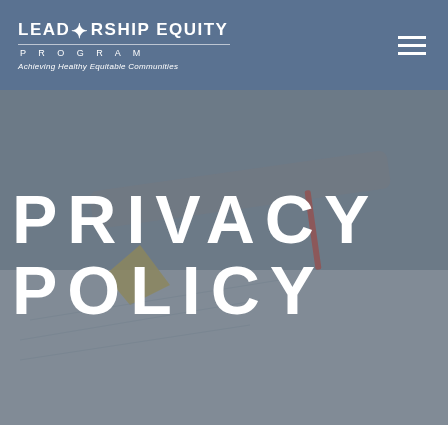LEADERSHIP EQUITY PROGRAM — Achieving Healthy Equitable Communities
[Figure (photo): Hero banner with a fountain pen resting on a document, overlaid with large white text reading PRIVACY POLICY on a grey-toned background.]
PRIVACY POLICY